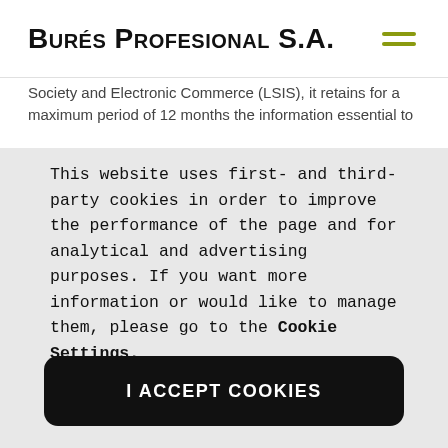Burés Profesional S.A.
Society and Electronic Commerce (LSIS), it retains for a maximum period of 12 months the information essential to
This website uses first- and third-party cookies in order to improve the performance of the page and for analytical and advertising purposes. If you want more information or would like to manage them, please go to the Cookie Settings.
I ACCEPT COOKIES